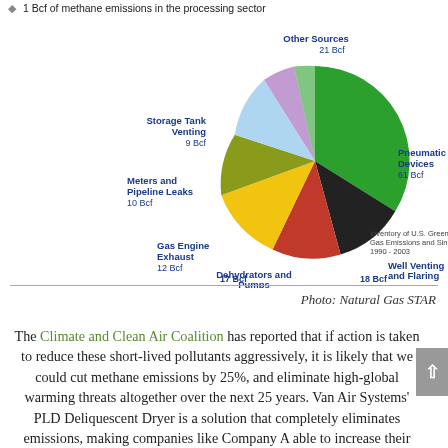1 Bcf of methane emissions in the processing sector
[Figure (pie-chart): Inventory of U.S. Greenhouse Gas Emissions and Sinks 1990–2003]
Photo: Natural Gas STAR
The Climate and Clean Air Coalition has reported that if action is taken to reduce these short-lived pollutants aggressively, it is likely that we could cut methane emissions by 25%, and eliminate high-global warming threats altogether over the next 25 years. Van Air Systems' PLD Deliquescent Dryer is a solution that completely eliminates emissions, making companies like Company A able to increase their pressure to the full 700 psig and